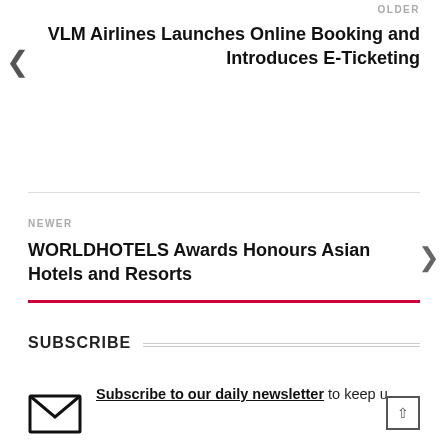OLDER
VLM Airlines Launches Online Booking and Introduces E-Ticketing
NEWER
WORLDHOTELS Awards Honours Asian Hotels and Resorts
SUBSCRIBE
Subscribe to our daily newsletter to keep u...